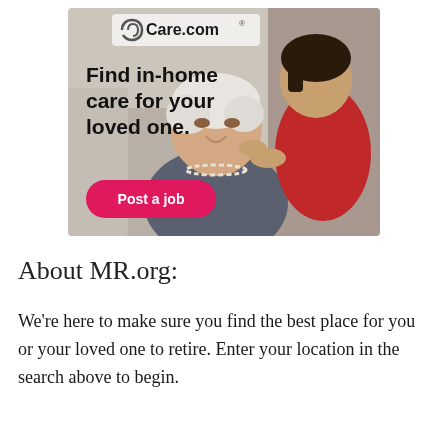[Figure (photo): Care.com advertisement showing an elderly Asian woman with white hair being assisted by a younger caregiver. Text overlay reads 'Find in-home care for your loved one.' with a pink 'Post a job' button. The Care.com logo appears in the top-left of the ad.]
About MR.org:
We're here to make sure you find the best place for you or your loved one to retire. Enter your location in the search above to begin.